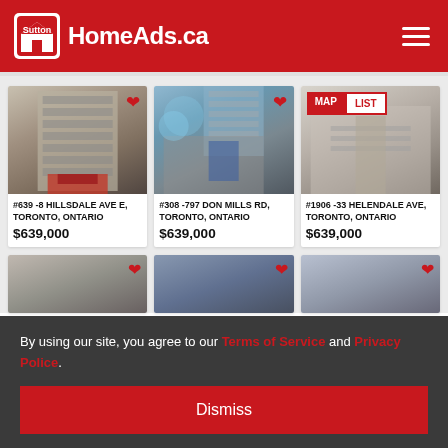HomeAds.ca
[Figure (photo): Building exterior photo for listing #639 -8 Hillsdale Ave E]
#639 -8 HILLSDALE AVE E, TORONTO, ONTARIO
$639,000
[Figure (photo): Building exterior/courtyard photo for listing #308 -797 Don Mills Rd]
#308 -797 DON MILLS RD, TORONTO, ONTARIO
$639,000
[Figure (photo): Interior photo for listing #1906 -33 Helendale Ave with MAP/LIST toggle]
#1906 -33 HELENDALE AVE, TORONTO, ONTARIO
$639,000
By using our site, you agree to our Terms of Service and Privacy Police.
Dismiss